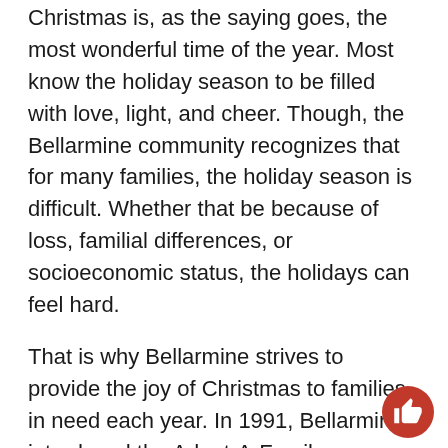Christmas is, as the saying goes, the most wonderful time of the year. Most know the holiday season to be filled with love, light, and cheer. Though, the Bellarmine community recognizes that for many families, the holiday season is difficult. Whether that be because of loss, familial differences, or socioeconomic status, the holidays can feel hard.
That is why Bellarmine strives to provide the joy of Christmas to families in need each year. In 1991, Bellarmine introduced the Adopt-A-Family program which invites students and teachers to gather warm clothing, canned goods, pre-prepared meals, and staple items for the home like toilet paper, toothpaste, and towels to equip these families with what they need for the holiday season ahead. In addition to the essential goods these families may need, the Bellarmine community also prepares gifts for the families, taking stock of what each family dynamic looks like. Does this
[Figure (illustration): Red circular thumbs-up icon in the bottom-right corner]